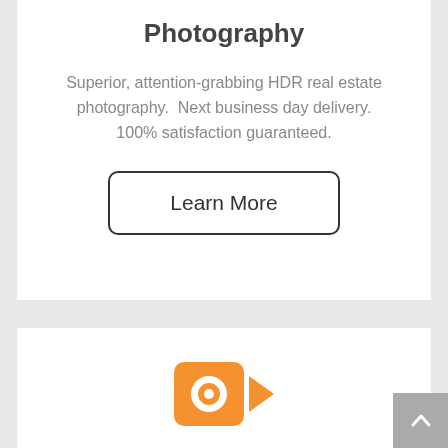Photography
Superior, attention-grabbing HDR real estate photography.  Next business day delivery. 100% satisfaction guaranteed.
[Figure (other): Learn More button with rounded rectangle border]
[Figure (other): Orange video camera icon (square camera with lens and side triangle)]
Videography